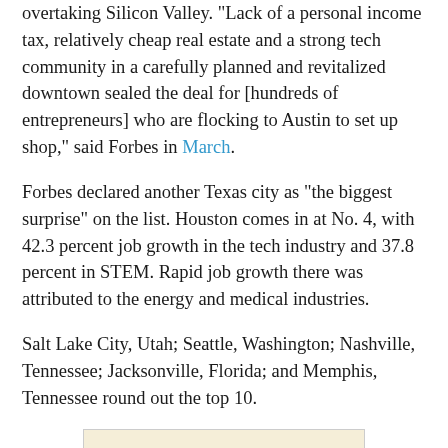overtaking Silicon Valley. "Lack of a personal income tax, relatively cheap real estate and a strong tech community in a carefully planned and revitalized downtown sealed the deal for [hundreds of entrepreneurs] who are flocking to Austin to set up shop," said Forbes in March.
Forbes declared another Texas city as "the biggest surprise" on the list. Houston comes in at No. 4, with 42.3 percent job growth in the tech industry and 37.8 percent in STEM. Rapid job growth there was attributed to the energy and medical industries.
Salt Lake City, Utah; Seattle, Washington; Nashville, Tennessee; Jacksonville, Florida; and Memphis, Tennessee round out the top 10.
[Figure (illustration): Partial image showing the word AUSTIN in bold blue italic lettering on a light tan/map-style background, partially cropped at the bottom of the page.]